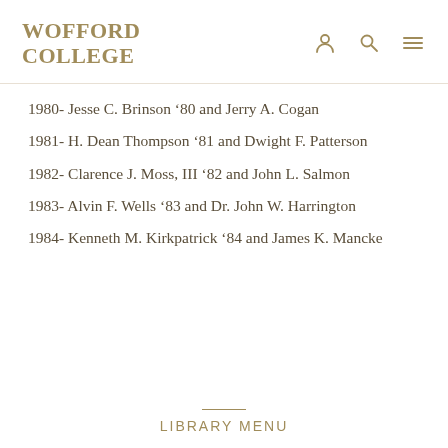WOFFORD COLLEGE
1980- Jesse C. Brinson '80 and Jerry A. Cogan
1981- H. Dean Thompson '81 and Dwight F. Patterson
1982- Clarence J. Moss, III '82 and John L. Salmon
1983- Alvin F. Wells '83 and Dr. John W. Harrington
1984- Kenneth M. Kirkpatrick '84 and James K. Mancke
LIBRARY MENU